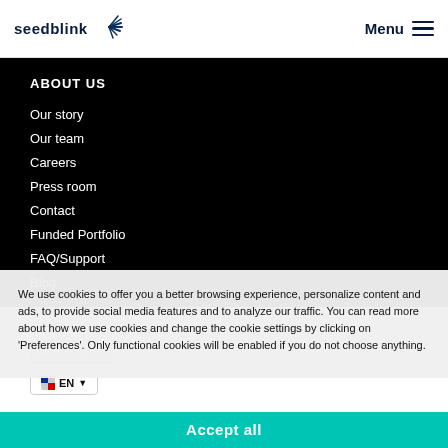seedblink | Menu
ABOUT US
Our story
Our team
Careers
Press room
Contact
Funded Portfolio
FAQ/Support
Blog
© 2022 All Rights Reserved
Support
Privacy Policy
Investment Risks
We use cookies to offer you a better browsing experience, personalize content and ads, to provide social media features and to analyze our traffic. You can read more about how we use cookies and change the cookie settings by clicking on 'Preferences'. Only functional cookies will be enabled if you do not choose anything.
Accept all